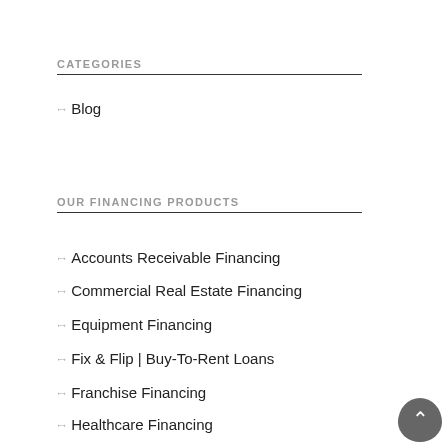CATEGORIES
Blog
OUR FINANCING PRODUCTS
Accounts Receivable Financing
Commercial Real Estate Financing
Equipment Financing
Fix & Flip | Buy-To-Rent Loans
Franchise Financing
Healthcare Financing